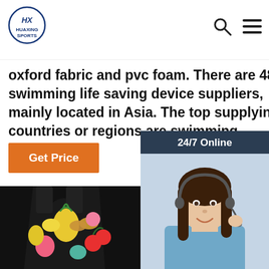[Figure (logo): Huaxing Sports logo - circular emblem with monogram letters and brand name below]
oxford fabric and pvc foam. There are 480 swimming life saving device suppliers, mainly located in Asia. The top supplying countries or regions are swimming ...
Get Price
[Figure (infographic): 24/7 Online chat widget with a customer service representative woman wearing a headset, blue shirt, dark hair. Contains 'Click here for free chat!' text and QUOTATION button.]
[Figure (photo): Two children's swim vests/life jackets with colorful fruit pattern (pineapples, cherries, strawberries, lemons, butterflies) on black background]